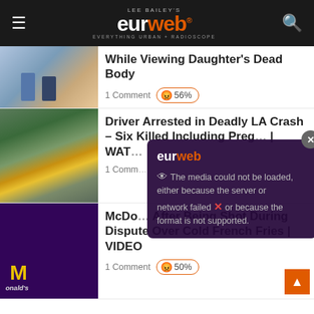Lee Bailey's EURweb — Everything Urban + Radioscope
While Viewing Daughter's Dead Body
1 Comment | 😡 56%
Driver Arrested in Deadly LA Crash – Six Killed Including Pregnant… | WAT…
1 Comm…
[Figure (screenshot): Media error overlay: 'The media could not be loaded, either because the server or network failed or because the format is not supported.' with EURweb logo and close button]
McDo… After Being Shot During Dispute Over Cold French Fries | VIDEO
1 Comment | 😡 50%